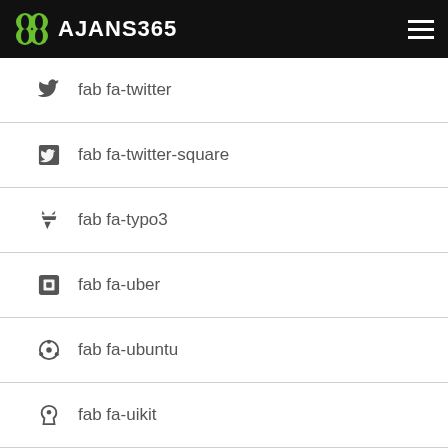AJANS365
fab fa-twitter
fab fa-twitter-square
fab fa-typo3
fab fa-uber
fab fa-ubuntu
fab fa-uikit
fab fa-uniregistry
fab fa-untend